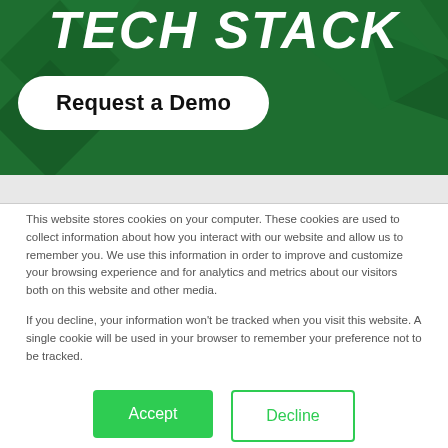[Figure (illustration): Green geometric hero banner with italic bold white text 'TECH STACK' and a white rounded pill button 'Request a Demo' on a dark green background with angular geometric shapes]
This website stores cookies on your computer. These cookies are used to collect information about how you interact with our website and allow us to remember you. We use this information in order to improve and customize your browsing experience and for analytics and metrics about our visitors both on this website and other media.

If you decline, your information won't be tracked when you visit this website. A single cookie will be used in your browser to remember your preference not to be tracked.
Accept
Decline